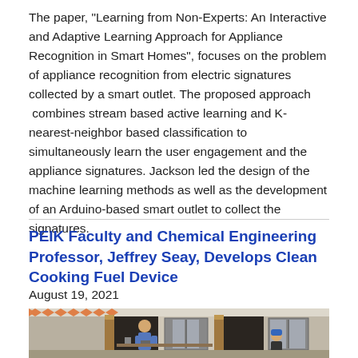The paper, "Learning from Non-Experts: An Interactive and Adaptive Learning Approach for Appliance Recognition in Smart Homes", focuses on the problem of appliance recognition from electric signatures collected by a smart outlet. The proposed approach  combines stream based active learning and K-nearest-neighbor based classification to simultaneously learn the user engagement and the appliance signatures. Jackson led the design of the machine learning methods as well as the development of an Arduino-based smart outlet to collect the signatures.
PEIK Faculty and Chemical Engineering Professor, Jeffrey Seay, Develops Clean Cooking Fuel Device
August 19, 2021
[Figure (photo): A photograph showing people in a building with wooden door frames and windows, with someone in a blue shirt and someone in a blue cap visible.]